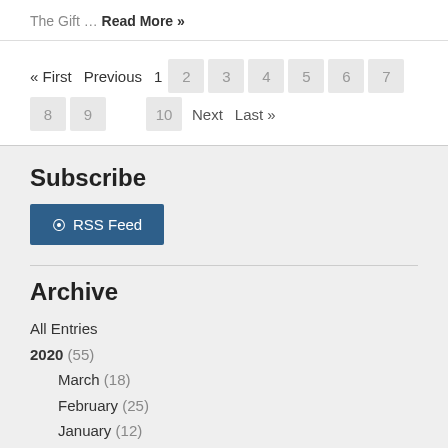The Gift … Read More »
« First  Previous  1  2  3  4  5  6  7  8  9  10  Next  Last »
Subscribe
RSS Feed
Archive
All Entries
2020 (55)
March (18)
February (25)
January (12)
2019 (626)